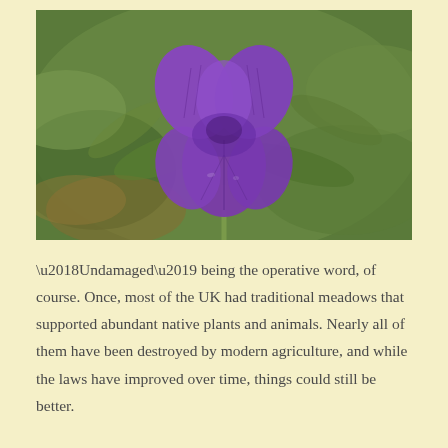[Figure (photo): Close-up photograph of a purple violet flower (likely Viola species) with deeply veined petals, set against a blurred green leafy background with some brown tones.]
‘Undamaged’ being the operative word, of course. Once, most of the UK had traditional meadows that supported abundant native plants and animals. Nearly all of them have been destroyed by modern agriculture, and while the laws have improved over time, things could still be better.